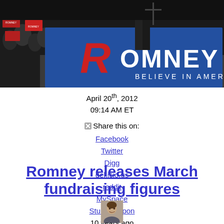[Figure (photo): Romney campaign event photo showing Romney on stage with a large blue campaign sign reading 'ROMNEY BELIEVE IN AMERICA' with the Romney R logo, and crowd members holding signs on the left]
April 20th, 2012
09:14 AM ET
Share this on:
Facebook
Twitter
Digg
del.icio.us
reddit
MySpace
StumbleUpon
10 years ago
Romney releases March fundraising figures
[Figure (photo): Small headshot photo of a person (author photo)]